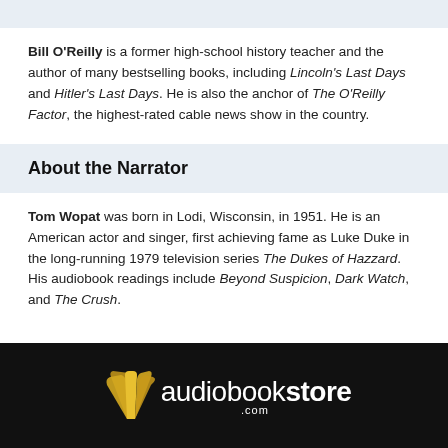Bill O'Reilly is a former high-school history teacher and the author of many bestselling books, including Lincoln's Last Days and Hitler's Last Days. He is also the anchor of The O'Reilly Factor, the highest-rated cable news show in the country.
About the Narrator
Tom Wopat was born in Lodi, Wisconsin, in 1951. He is an American actor and singer, first achieving fame as Luke Duke in the long-running 1979 television series The Dukes of Hazzard. His audiobook readings include Beyond Suspicion, Dark Watch, and The Crush.
[Figure (logo): Audiobookstore.com logo with golden book fan icon on black background]